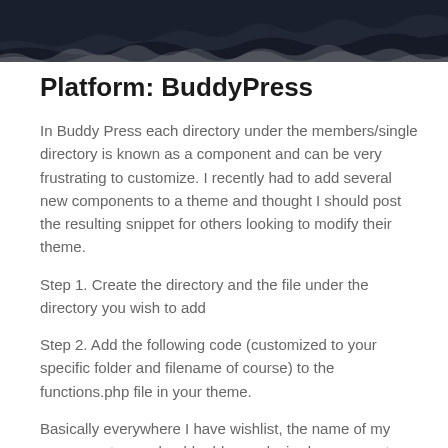Platform: BuddyPress
In Buddy Press each directory under the members/single directory is known as a component and can be very frustrating to customize. I recently had to add several new components to a theme and thought I should post the resulting snippet for others looking to modify their theme.
Step 1. Create the directory and the file under the directory you wish to add
Step 2. Add the following code (customized to your specific folder and filename of course) to the functions.php file in your theme.
Basically everywhere I have wishlist, the name of my component, you should add your desired component